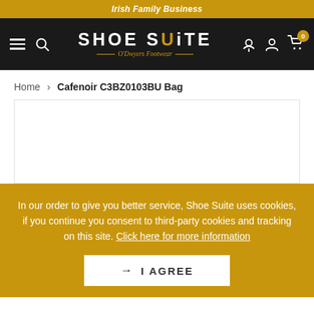Irish Family Business
[Figure (logo): Shoe Suite O'Dwyers Footwear logo with hamburger menu and search icon on left, cart/account/location icons on right, on black navigation bar]
Home > Cafenoir C3BZ0103BU Bag
[Figure (other): Product image area - white box with border, product not loaded]
In our order to give you better service, Shoe Suite uses cookies, if you continue you consent to third-party cookies and tracking on this site. Click here for more information
→ I AGREE